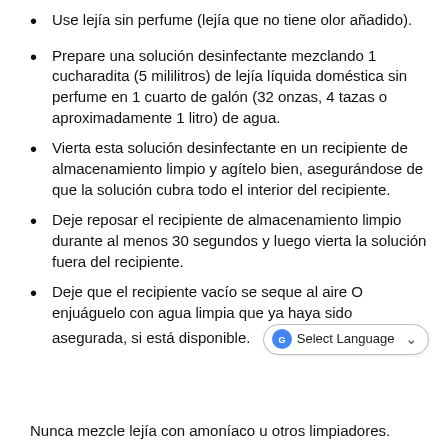Use lejía sin perfume (lejía que no tiene olor añadido).
Prepare una solución desinfectante mezclando 1 cucharadita (5 mililitros) de lejía líquida doméstica sin perfume en 1 cuarto de galón (32 onzas, 4 tazas o aproximadamente 1 litro) de agua.
Vierta esta solución desinfectante en un recipiente de almacenamiento limpio y agítelo bien, asegurándose de que la solución cubra todo el interior del recipiente.
Deje reposar el recipiente de almacenamiento limpio durante al menos 30 segundos y luego vierta la solución fuera del recipiente.
Deje que el recipiente vacío se seque al aire O enjuáguelo con agua limpia que ya haya sido asegurada, si está disponible.
Nunca mezcle lejía con amoníaco u otros limpiadores.